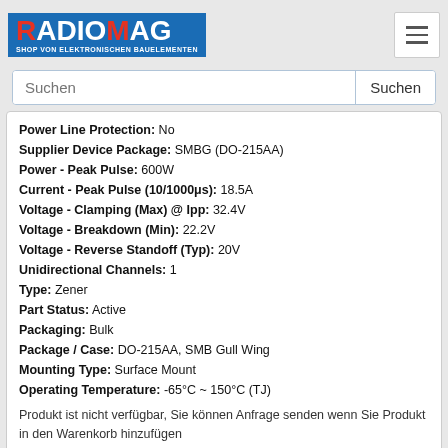[Figure (logo): RADIOMAG logo - blue background with red and white lettering, subtitle: SHOP VON ELEKTRONISCHEN BAUELEMENTEN]
Power Line Protection: No
Supplier Device Package: SMBG (DO-215AA)
Power - Peak Pulse: 600W
Current - Peak Pulse (10/1000μs): 18.5A
Voltage - Clamping (Max) @ Ipp: 32.4V
Voltage - Breakdown (Min): 22.2V
Voltage - Reverse Standoff (Typ): 20V
Unidirectional Channels: 1
Type: Zener
Part Status: Active
Packaging: Bulk
Package / Case: DO-215AA, SMB Gull Wing
Mounting Type: Surface Mount
Operating Temperature: -65°C ~ 150°C (TJ)
Produkt ist nicht verfügbar, Sie können Anfrage senden wenn Sie Produkt in den Warenkorb hinzufügen
MXLSMBG20AE3